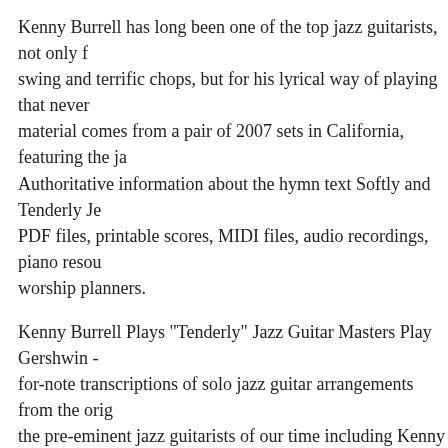Kenny Burrell has long been one of the top jazz guitarists, not only f... swing and terrific chops, but for his lyrical way of playing that never... material comes from a pair of 2007 sets in California, featuring the ja... Authoritative information about the hymn text Softly and Tenderly Je... PDF files, printable scores, MIDI files, audio recordings, piano resou... worship planners.
Kenny Burrell Plays "Tenderly" Jazz Guitar Masters Play Gershwin -... for-note transcriptions of solo jazz guitar arrangements from the orig... the pre-eminent jazz guitarists of our time including Kenny Burrell, J... others! All transcriptions PDF made in the 6 last months are only ava... вЂПатреонвЂ™ subscribers. Consider subscribing to my вЂПатрео... access to all new transcriptions and PatronвЂ™s exclusive content f...
Kenny Burrell Collection. Known for his harmonic creativity, lush to... Burrell has been one of the most respected Jazz guitarist and educato... my new Kenny Burrell transcription collection. Check this out! Tend... Arrangement pour Piano, SSA, Vocal et Tablature de guitare. De Ani... Evans et Billie Holiday. Formation Accords. Tab. Paroles et Scorb...